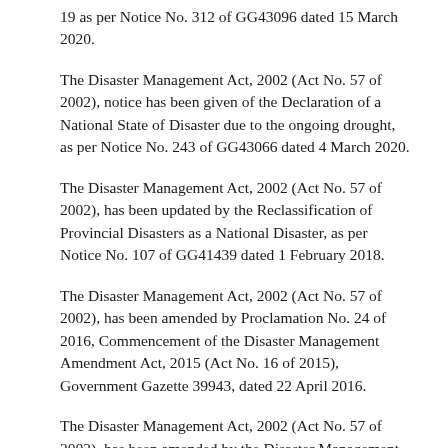19 as per Notice No. 312 of GG43096 dated 15 March 2020.
The Disaster Management Act, 2002 (Act No. 57 of 2002), notice has been given of the Declaration of a National State of Disaster due to the ongoing drought, as per Notice No. 243 of GG43066 dated 4 March 2020.
The Disaster Management Act, 2002 (Act No. 57 of 2002), has been updated by the Reclassification of Provincial Disasters as a National Disaster, as per Notice No. 107 of GG41439 dated 1 February 2018.
The Disaster Management Act, 2002 (Act No. 57 of 2002), has been amended by Proclamation No. 24 of 2016, Commencement of the Disaster Management Amendment Act, 2015 (Act No. 16 of 2015), Government Gazette 39943, dated 22 April 2016.
The Disaster Management Act, 2002 (Act No. 57 of 2002), has been amended by the Disaster Management Amendment Act, 2015 (Act No. 16 of 2015), Government Gazette 39520, Notice No. 1239, dated 15 December 2015.